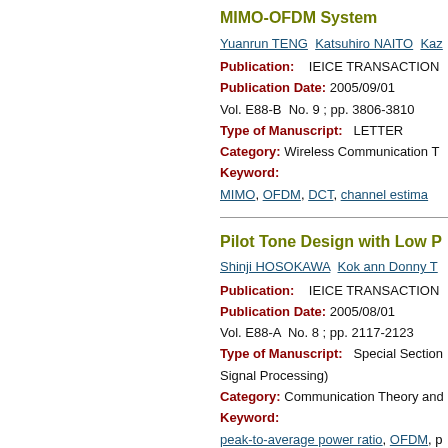MIMO-OFDM System
Yuanrun TENG  Katsuhiro NAITO  Kaz...
Publication:   IEICE TRANSACTION...
Publication Date: 2005/09/01
Vol. E88-B  No. 9 ; pp. 3806-3810
Type of Manuscript:  LETTER
Category: Wireless Communication T...
Keyword:
MIMO, OFDM, DCT, channel estima...
Pilot Tone Design with Low P...
Shinji HOSOKAWA  Kok ann Donny T...
Publication:   IEICE TRANSACTION...
Publication Date: 2005/08/01
Vol. E88-A  No. 8 ; pp. 2117-2123
Type of Manuscript:  Special Section... Signal Processing)
Category: Communication Theory and...
Keyword:
peak-to-average power ratio, OFDM, p...
Performance of Wireless LA...